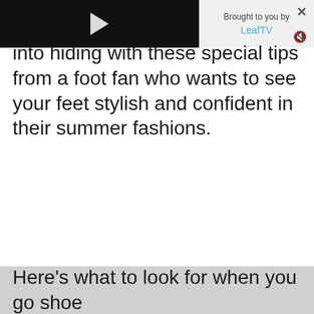[Figure (screenshot): Video player overlay with dark background and white play button triangle on the left portion, and a branding panel on the right showing 'Brought to you by' with 'LeafTV' in blue, plus close (x) and mute icons.]
into hiding with these special tips from a foot fan who wants to see your feet stylish and confident in their summer fashions.
Here's what to look for when you go shoe